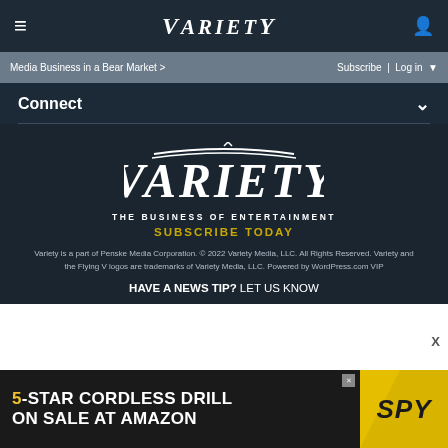≡  VARIETY  👤
Media Business in a Bear Market >    Subscribe | Log in ▼
Connect ∨
[Figure (logo): Variety logo in white italic serif text with decorative banner above letters]
THE BUSINESS OF ENTERTAINMENT
SUBSCRIBE TODAY
Variety is a part of Penske Media Corporation. © 2022 Variety Media, LLC. All Rights Reserved. Variety and the Flying V logos are trademarks of Variety Media, LLC. Powered by WordPress.com VIP
HAVE A NEWS TIP? LET US KNOW
[Figure (illustration): Advertisement banner: 5-STAR CORDLESS DRILL ON SALE AT AMAZON with SPY logo on yellow background]